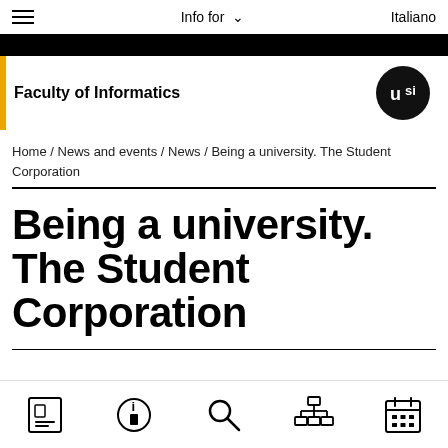Info for  Italiano
Faculty of Informatics
Home / News and events / News / Being a university. The Student Corporation
Being a university. The Student Corporation
[Figure (other): Bottom navigation toolbar with 5 icons: ID card, info, search, organizational chart, calendar]